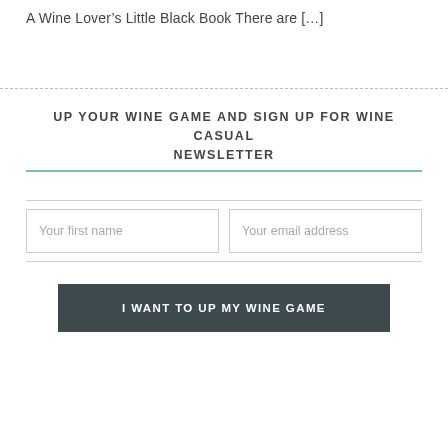A Wine Lover’s Little Black Book There are […]
UP YOUR WINE GAME AND SIGN UP FOR WINE CASUAL NEWSLETTER
Your first name
Your email address
I WANT TO UP MY WINE GAME